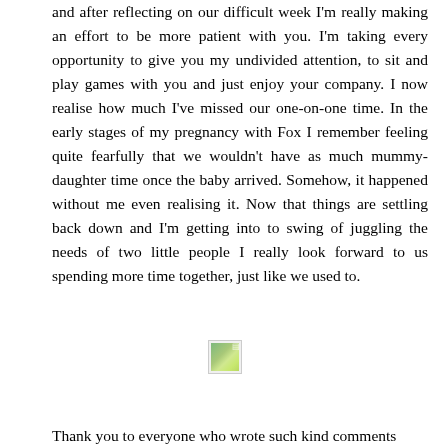and after reflecting on our difficult week I'm really making an effort to be more patient with you. I'm taking every opportunity to give you my undivided attention, to sit and play games with you and just enjoy your company. I now realise how much I've missed our one-on-one time. In the early stages of my pregnancy with Fox I remember feeling quite fearfully that we wouldn't have as much mummy-daughter time once the baby arrived. Somehow, it happened without me even realising it. Now that things are settling back down and I'm getting into to swing of juggling the needs of two little people I really look forward to us spending more time together, just like we used to.
[Figure (photo): Small broken/loading image thumbnail, approximately 32x32 pixels, showing a partial landscape or nature image]
Thank you to everyone who wrote such kind comments